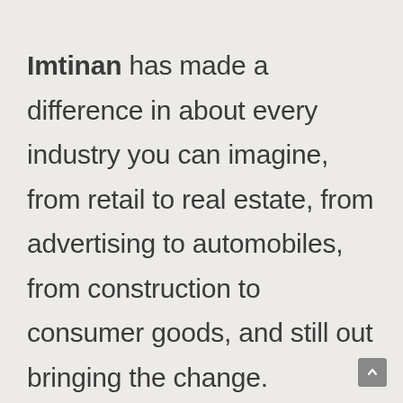Imtinan has made a difference in about every industry you can imagine, from retail to real estate, from advertising to automobiles, from construction to consumer goods, and still out bringing the change.